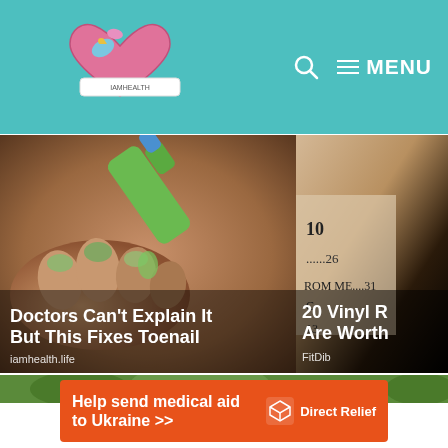[Figure (screenshot): Website header with teal/turquoise background showing a logo on the left (illustrated heart with a bird/unicorn tattoo style), search icon and MENU on the right]
[Figure (photo): Left article card showing an illustration of nail polish/liquid being applied to a toenail, with brown hand and green bottle. Title: Doctors Can't Explain It But This Fixes Toenail. Source: iamhealth.life]
[Figure (photo): Right article card partially visible showing a handwritten list with numbers like 28, 31, and text FROM ME....31. Title: 20 Vinyl R... Are Worth. Source: FitDib]
[Figure (screenshot): Orange advertisement banner: Help send medical aid to Ukraine >> with DirectRelief logo on the right]
[Figure (photo): Bottom strip showing green trees/outdoor photo]